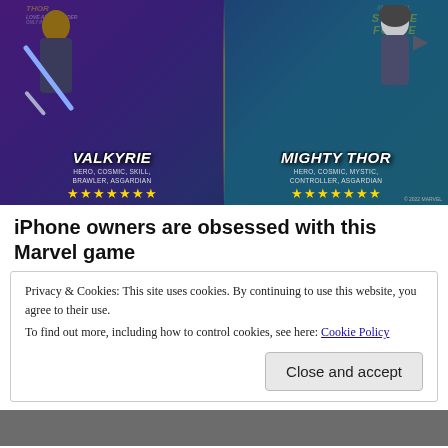[Figure (illustration): Marvel Strike Force promotional image showing Valkyrie and Mighty Thor characters with Thor: Love and Thunder movie branding. Valkyrie on left with sword, tagged HERO, COSMIC, SKILL, BRAWLER, ASGARDIAN with 7 gold stars. Mighty Thor on right tagged HERO, COSMIC, MYSTIC, CONTROLLER, ASGARDIAN with 7 gold stars.]
iPhone owners are obsessed with this Marvel game
Privacy & Cookies: This site uses cookies. By continuing to use this website, you agree to their use.
To find out more, including how to control cookies, see here: Cookie Policy
Close and accept